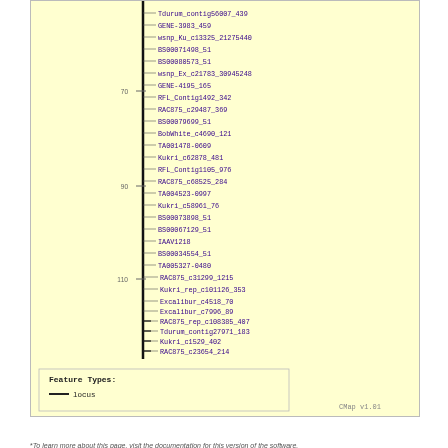[Figure (other): Genetic/physical map image (CMap v1.01) showing a chromosome with marker loci. Markers listed include: Tdurum_contig56007_439, GENE-3983_459, wsnp_Ku_c13325_21275440, BS00071498_51, BS00080573_51, wsnp_Ex_c21783_30945248, GENE-4195_165, RFL_Contig1492_342, RAC875_c29487_369, BS00079699_51, BobWhite_c4690_121, TA001478-0609, Kukri_c62878_481, RFL_Contig1105_976, RAC875_c68525_284, TA004523-0997, Kukri_c58961_76, BS00073898_51, BS00067129_51, IAAV1218, BS00034554_51, TA005327-0480, RAC875_c31299_1215, Kukri_rep_c101126_353, Excalibur_c4518_70, Excalibur_c7996_89, RAC875_rep_c108385_407, Tdurum_contig27971_183, Kukri_c1529_402, RAC875_c23654_214. Axis ticks at positions 70, 90, 110.]
Feature Types: — locus
CMap v1.01
Save Link*
*To learn more about this page, visit the documentation for this version of the software.